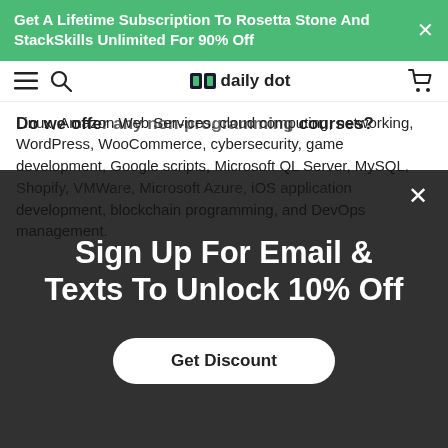Get A Lifetime Subscription To Rosetta Stone And StackSkills Unlimited For 90% Off
[Figure (logo): Daily Dot website navigation bar with hamburger menu, search icon, Daily Dot logo, and cart icon]
Linux, Amazon Web Services, cloud computing, networking, WordPress, WooCommerce, cybersecurity, game development, Google scripts, Microsoft QL Server, MySQL, Shopify, VMWare, Microsoft Azure, iOS application development, blockchain programming, and DevOps management.
Do we offer any non-programming courses?
Yes, we have courses in programming, cybersecurity, and web programming. With our courses you can learn finance, investing, cryptocurrency, real estate, graphic design, novel writing, how to become an entrepreneur, a product manager, a data scientist, and you can learn your way around the entire Microsoft Office suite
[Figure (infographic): Modal overlay with text 'Sign Up For Email & Texts To Unlock 10% Off' and a 'Get Discount' button on dark background]